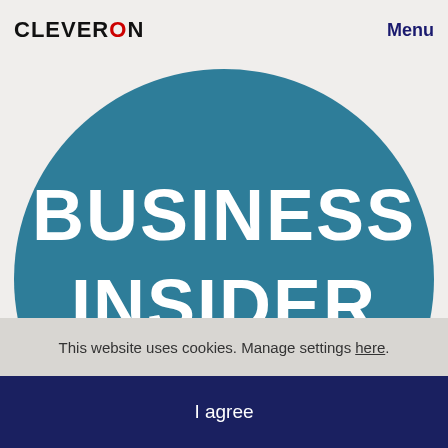CLEVERON   Menu
[Figure (logo): Business Insider logo: large teal circle with white bold text reading 'BUSINESS INSIDER' on two lines]
This website uses cookies. Manage settings here.
I agree